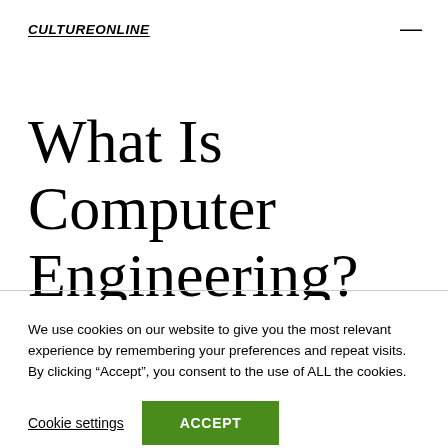CULTUREONLINE
What Is Computer Engineering?
We use cookies on our website to give you the most relevant experience by remembering your preferences and repeat visits. By clicking “Accept”, you consent to the use of ALL the cookies.
Cookie settings  ACCEPT